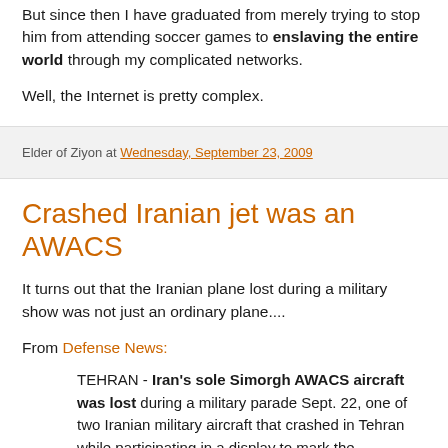But since then I have graduated from merely trying to stop him from attending soccer games to enslaving the entire world through my complicated networks.
Well, the Internet is pretty complex.
Elder of Ziyon at Wednesday, September 23, 2009
Crashed Iranian jet was an AWACS
It turns out that the Iranian plane lost during a military show was not just an ordinary plane....
From Defense News:
TEHRAN - Iran's sole Simorgh AWACS aircraft was lost during a military parade Sept. 22, one of two Iranian military aircraft that crashed in Tehran while participating in a display to mark the anniversary of the start of the 1980-88 Iran-Iraq W...